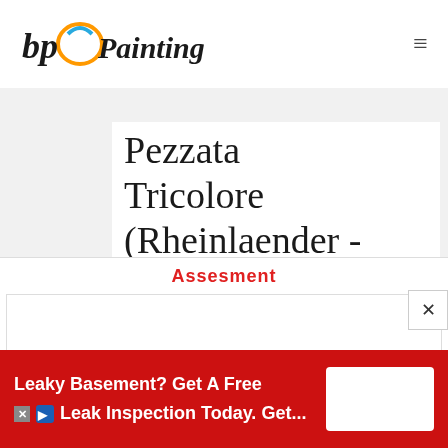bp Painting [logo] [hamburger menu]
Pezzata  Tricolore (Rheinlaender - Papillon tricolor)
Italian standard of the cunicule breeds: MEDIUM BREED CATEGORY. Weight: 3.5 - 3.7 kg.
This particularly elegant amateur breed was selected in Germany.
[Figure (screenshot): Advertisement overlay: red banner reading 'Leaky Basement? Get A Free Leak Inspection Today. Get...' with a white box and ad icons. Above it a partially visible 'Assesment' heading in red, and a white strip.]